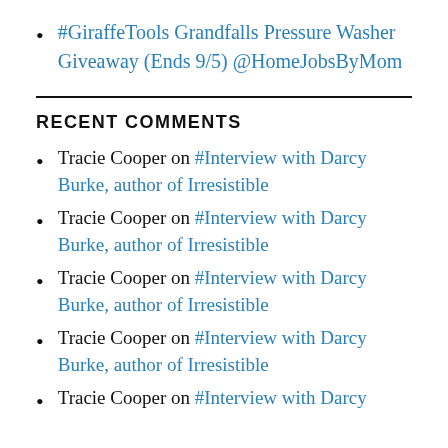#GiraffeTools Grandfalls Pressure Washer Giveaway (Ends 9/5) @HomeJobsByMom
RECENT COMMENTS
Tracie Cooper on #Interview with Darcy Burke, author of Irresistible
Tracie Cooper on #Interview with Darcy Burke, author of Irresistible
Tracie Cooper on #Interview with Darcy Burke, author of Irresistible
Tracie Cooper on #Interview with Darcy Burke, author of Irresistible
Tracie Cooper on #Interview with Darcy